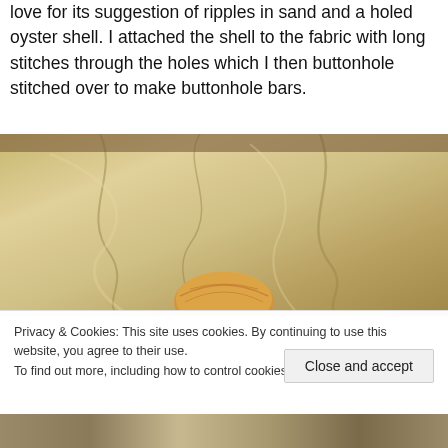love for its suggestion of ripples in sand and a holed oyster shell. I attached the shell to the fabric with long stitches through the holes which I then buttonhole stitched over to make buttonhole bars.
[Figure (photo): Close-up photograph of a golden/cream colored fabric with rippled texture resembling sand, with a rounded oyster shell visible at the bottom center of the image.]
Privacy & Cookies: This site uses cookies. By continuing to use this website, you agree to their use.
To find out more, including how to control cookies, see here: Cookie Policy
[Figure (photo): Partial bottom strip of another photograph showing fabric or textile material.]